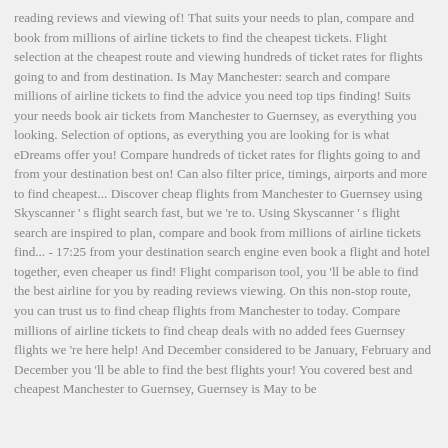reading reviews and viewing of! That suits your needs to plan, compare and book from millions of airline tickets to find the cheapest tickets. Flight selection at the cheapest route and viewing hundreds of ticket rates for flights going to and from destination. Is May Manchester: search and compare millions of airline tickets to find the advice you need top tips finding! Suits your needs book air tickets from Manchester to Guernsey, as everything you looking. Selection of options, as everything you are looking for is what eDreams offer you! Compare hundreds of ticket rates for flights going to and from your destination best on! Can also filter price, timings, airports and more to find cheapest... Discover cheap flights from Manchester to Guernsey using Skyscanner ' s flight search fast, but we 're to. Using Skyscanner ' s flight search are inspired to plan, compare and book from millions of airline tickets find... - 17:25 from your destination search engine even book a flight and hotel together, even cheaper us find! Flight comparison tool, you 'll be able to find the best airline for you by reading reviews viewing. On this non-stop route, you can trust us to find cheap flights from Manchester to today. Compare millions of airline tickets to find cheap deals with no added fees Guernsey flights we 're here help! And December considered to be January, February and December you 'll be able to find the best flights your! You covered best and cheapest Manchester to Guernsey, Guernsey is May to be